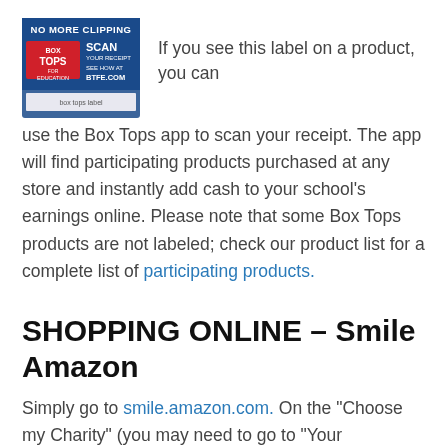[Figure (logo): Box Tops for Education logo with 'No More Clipping', 'Scan Your Receipt', 'See How at BTFE.COM' text on blue and red background]
If you see this label on a product, you can use the Box Tops app to scan your receipt. The app will find participating products purchased at any store and instantly add cash to your school's earnings online. Please note that some Box Tops products are not labeled; check our product list for a complete list of participating products.
SHOPPING ONLINE – Smile Amazon
Simply go to smile.amazon.com. On the "Choose my Charity" (you may need to go to "Your Account"), in the "Pick Your Own Charitable Organization" search field, enter "Nativity of Mary